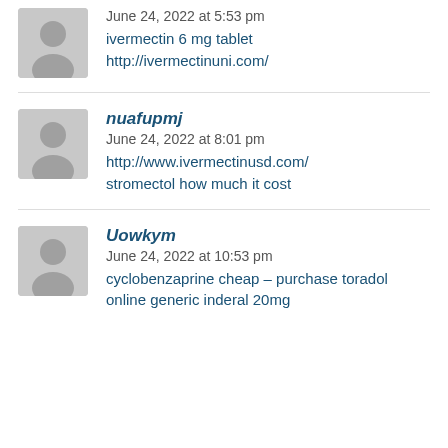June 24, 2022 at 5:53 pm
ivermectin 6 mg tablet
http://ivermectinuni.com/
nuafupmj
June 24, 2022 at 8:01 pm
http://www.ivermectinusd.com/
stromectol how much it cost
Uowkym
June 24, 2022 at 10:53 pm
cyclobenzaprine cheap – purchase toradol online generic inderal 20mg